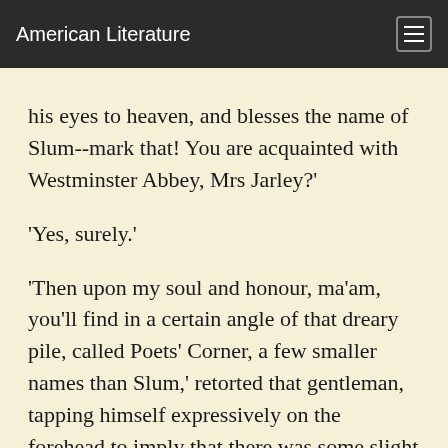American Literature
his eyes to heaven, and blesses the name of Slum--mark that! You are acquainted with Westminster Abbey, Mrs Jarley?'
'Yes, surely.'
'Then upon my soul and honour, ma'am, you'll find in a certain angle of that dreary pile, called Poets' Corner, a few smaller names than Slum,' retorted that gentleman, tapping himself expressively on the forehead to imply that there was some slight quantity of brain behind it. 'I've got a little trifle here, now,' said Mr Slum, taking off his hat which was full of scraps of paper, 'a little trifle here, thrown off in